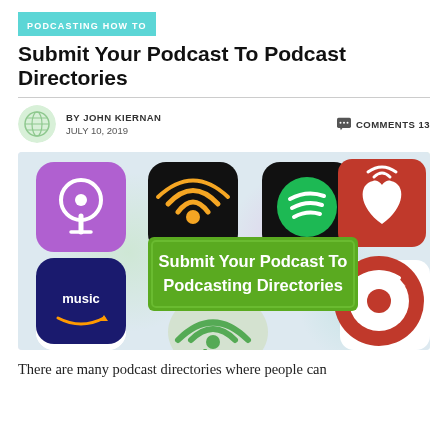PODCASTING HOW TO
Submit Your Podcast To Podcast Directories
BY JOHN KIERNAN   COMMENTS 13
JULY 10, 2019
[Figure (illustration): Hero image showing podcast app icons including Apple Podcasts, Overcast, Spotify, iHeartRadio, Google Podcasts, Pandora, Amazon Music, PodBean, and PlayerFM. A green banner reads 'Submit Your Podcast To Podcasting Directories'.]
There are many podcast directories where people can